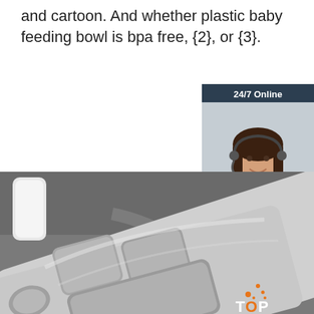and cartoon. And whether plastic baby feeding bowl is bpa free, {2}, or {3}.
[Figure (other): Orange 'Get Price' button]
[Figure (other): 24/7 Online chat widget with customer service agent photo, 'Click here for free chat!' text, and orange QUOTATION button]
[Figure (photo): Product photo of stainless steel divided food tray/plate with multiple compartments on a gray surface, with a white container in background. TOP logo badge in bottom right corner.]